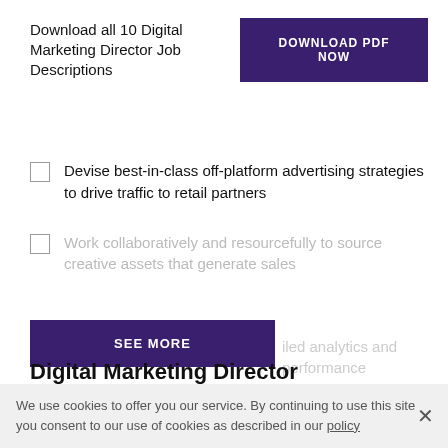Download all 10 Digital Marketing Director Job Descriptions
DOWNLOAD PDF NOW
Devise best-in-class off-platform advertising strategies to drive traffic to retail partners
Work collaboratively and resourcefully to source creative assets that generate sales
SEE MORE
iled analytics and performance
Digital Marketing Director Requirements & Skills 1
We use cookies to offer you our service. By continuing to use this site you consent to our use of cookies as described in our policy